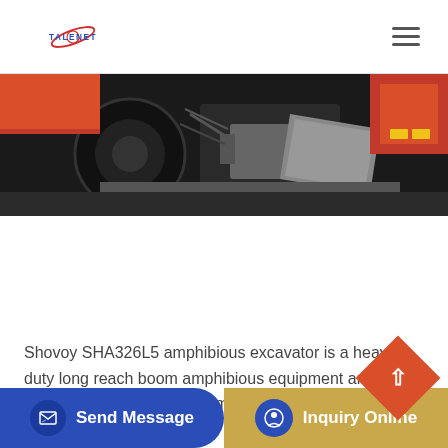TALENET
[Figure (photo): Close-up photo of heavy machinery undercarriage — large black tire, dark engine/hydraulic components, and red equipment body with yellow caution label]
Shovoy SHA326L5 amphibious excavator is a heavy duty long reach boom amphibious equipment among all our range. The machine comes with 0.6 cubic meter reach